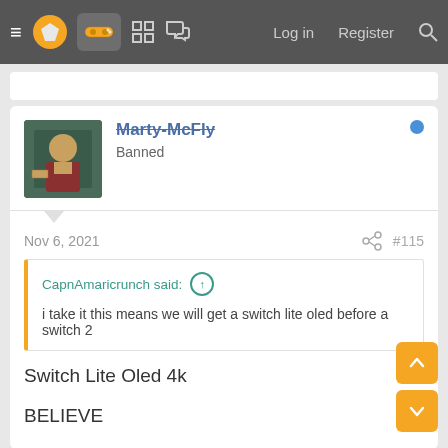≡ [logo] [gamepad] [grid] [chat]   Log in   Register   🔍
Marty-McFly
Banned
Nov 6, 2021   ⤴   #115
CapnAmaricrunch said: ↑
i take it this means we will get a switch lite oled before a switch 2
Switch Lite Oled 4k
BELIEVE